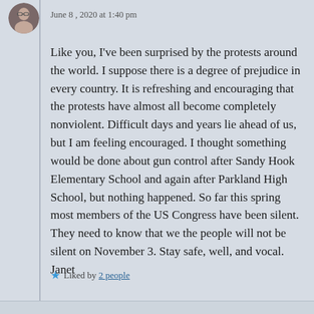June 8, 2020 at 1:40 pm
Like you, I've been surprised by the protests around the world. I suppose there is a degree of prejudice in every country. It is refreshing and encouraging that the protests have almost all become completely nonviolent. Difficult days and years lie ahead of us, but I am feeling encouraged. I thought something would be done about gun control after Sandy Hook Elementary School and again after Parkland High School, but nothing happened. So far this spring most members of the US Congress have been silent. They need to know that we the people will not be silent on November 3. Stay safe, well, and vocal. Janet
Liked by 2 people